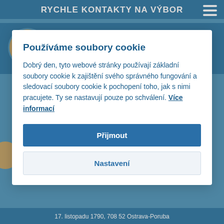RYCHLE KONTAKTY NA VÝBOR
prof. MUDr. Petr Marusič, Ph.D.
předseda
Neurologická klinika 2. LF UK a FN Motol
V Úvalu 84, 150 06 Praha 5
Používáme soubory cookie
Dobrý den, tyto webové stránky používají základní soubory cookie k zajištění svého správného fungování a sledovací soubory cookie k pochopení toho, jak s nimi pracujete. Ty se nastavují pouze po schválení. Více informací
Přijmout
Nastavení
17. listopadu 1790, 708 52 Ostrava-Poruba